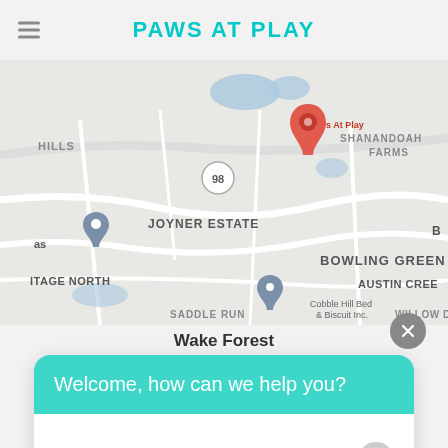PAWS AT PLAY
[Figure (map): Google Maps screenshot showing Wake Forest area with location pin for Paws At Play in Shenandoah Farms area, showing neighborhoods: Hills, Joyner Estate, Bowling Green, Heritage North, Austin Creek, Saddle Run, Willow Deer, and a Cobble Hill Bed & Biscuit Inc marker]
Wake Forest
Welcome, how can we help you?
Write your message...